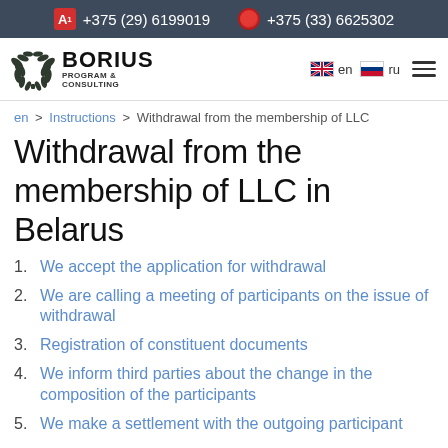+375 (29) 6199019   +375 (33) 6625302
[Figure (logo): Borius Program & Consulting logo with laurel wreath emblem]
en > Instructions > Withdrawal from the membership of LLC
Withdrawal from the membership of LLC in Belarus
We accept the application for withdrawal
We are calling a meeting of participants on the issue of withdrawal
Registration of constituent documents
We inform third parties about the change in the composition of the participants
We make a settlement with the outgoing participant